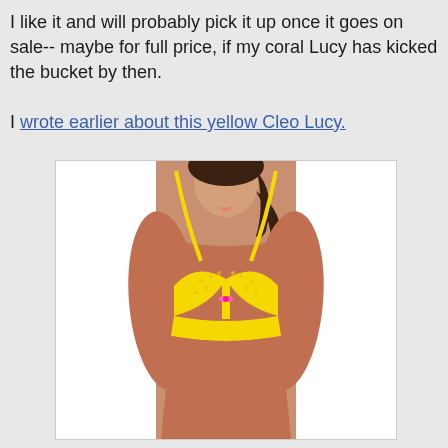I like it and will probably pick it up once it goes on sale-- maybe for full price, if my coral Lucy has kicked the bucket by then.
I wrote earlier about this yellow Cleo Lucy.
[Figure (photo): A woman modeling a yellow lace bra with pink bow detail, shown from shoulders to waist on a white background.]